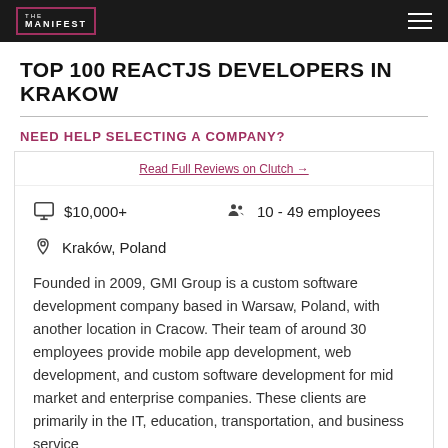THE MANIFEST
TOP 100 REACTJS DEVELOPERS IN KRAKOW
NEED HELP SELECTING A COMPANY?
Read Full Reviews on Clutch →
$10,000+
10 - 49 employees
Kraków, Poland
Founded in 2009, GMI Group is a custom software development company based in Warsaw, Poland, with another location in Cracow. Their team of around 30 employees provide mobile app development, web development, and custom software development for mid market and enterprise companies. These clients are primarily in the IT, education, transportation, and business service